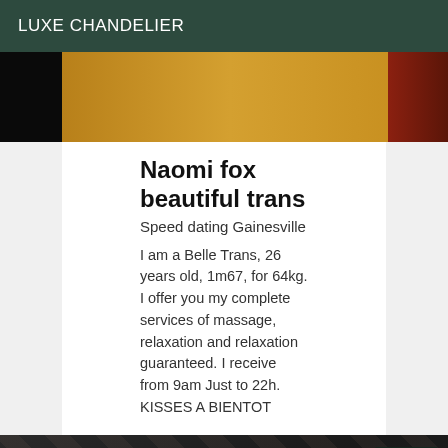LUXE CHANDELIER
[Figure (photo): Top partial photo with dark left edge, warm orange/amber center, and dark red right edge]
Naomi fox beautiful trans
Speed dating Gainesville
I am a Belle Trans, 26 years old, 1m67, for 64kg. I offer you my complete services of massage, relaxation and relaxation guaranteed. I receive from 9am Just to 22h. KISSES A BIENTOT
[Figure (photo): Photo of person wearing black floral patterned clothing with dark red/maroon zipper detail, with Online badge in top right]